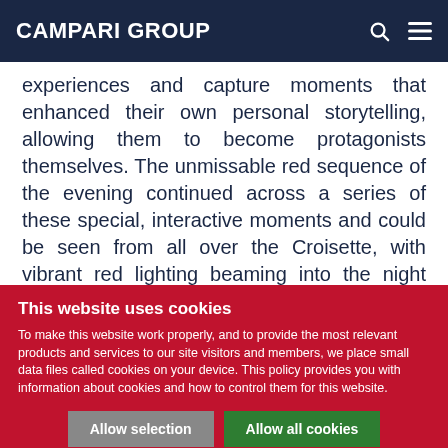CAMPARI GROUP
experiences and capture moments that enhanced their own personal storytelling, allowing them to become protagonists themselves. The unmissable red sequence of the evening continued across a series of these special, interactive moments and could be seen from all over the Croisette, with vibrant red lighting beaming into the night sky.

Attended by stars, the evening was the latest example of
This website uses cookies
To make this website work properly, and to provide the most relevant products and services to our site visitors and members, we place small data files called cookies on your device. This policy provides you with information about cookies and how to control them for this website.
Allow selection | Allow all cookies | Necessary | Preferences | Statistics | Marketing | Show details